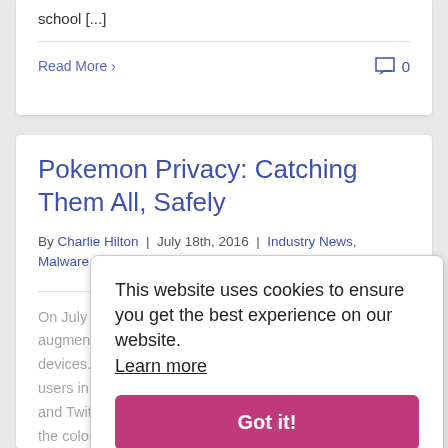school [...]
Read More >
0
Pokemon Privacy: Catching Them All, Safely
By Charlie Hilton | July 18th, 2016 | Industry News, Malware and Scams, Online Safety
On July 6, Niantic launched Pokemon Go, a free augmented reality game for iOS and Android devices...went wild. Pokemon Go grabbed 26 million users in the U.S. alone, surpassing both Google Maps and Twitter in daily active users. It's been hard to escape the colorful news over the past week. Articles [...]
This website uses cookies to ensure you get the best experience on our website. Learn more
Got it!